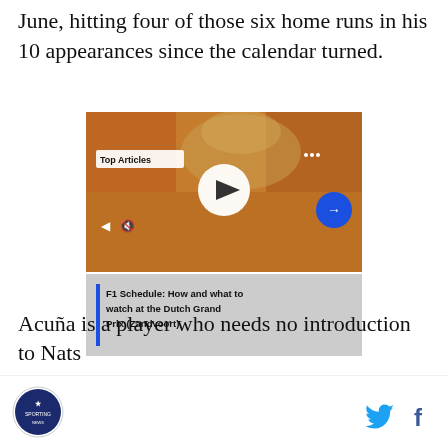June, hitting four of those six home runs in his 10 appearances since the calendar turned.
[Figure (screenshot): Video player thumbnail showing a crowd of orange-clad fans with smoke, overlaid with Top Articles badge, play button, mute icon, navigation arrow, and caption: F1 Schedule: How and what to watch at the Dutch Grand Prix (Zandvoort)]
Acuña is a player who needs no introduction to Nats
Logo | Twitter | Facebook icons